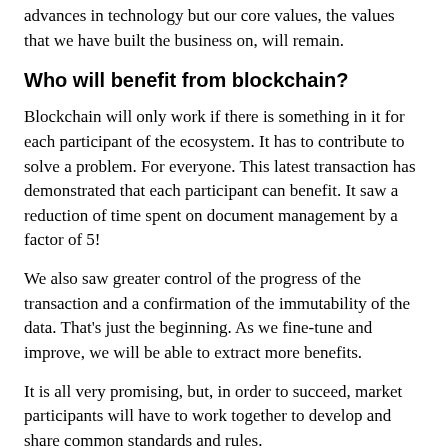advances in technology but our core values, the values that we have built the business on, will remain.
Who will benefit from blockchain?
Blockchain will only work if there is something in it for each participant of the ecosystem. It has to contribute to solve a problem. For everyone. This latest transaction has demonstrated that each participant can benefit. It saw a reduction of time spent on document management by a factor of 5!
We also saw greater control of the progress of the transaction and a confirmation of the immutability of the data. That's just the beginning. As we fine-tune and improve, we will be able to extract more benefits.
It is all very promising, but, in order to succeed, market participants will have to work together to develop and share common standards and rules.
[Figure (photo): blog-blockchain-Info01.jpg image placeholder]
SHARE
•